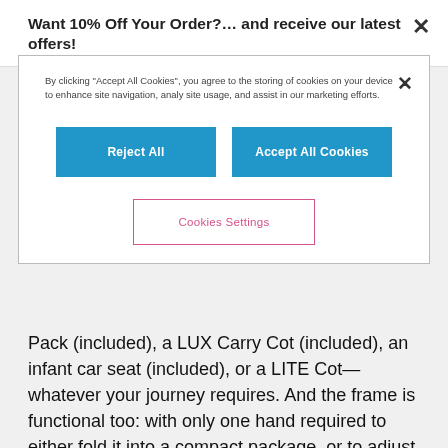Want 10% Off Your Order?… and receive our latest offers!
[Figure (screenshot): Cookie consent modal dialog with text, two blue buttons (Reject All, Accept All Cookies), and an outlined pink Cookies Settings button]
Pack (included), a LUX Carry Cot (included), an infant car seat (included), or a LITE Cot—whatever your journey requires. And the frame is functional too: with only one hand required to either fold it into a compact package, or to adjust it to recline the seat unit into a flat lying position. Add in a spacious shopping basket, and you're well-equipped for the challenges of a new day.
SIMPLY FLOWERS
Let us tell you the story of the CYBEX SIMPLY FLOWERS collection: It is a modern fairy tale – live and in colour. Feel